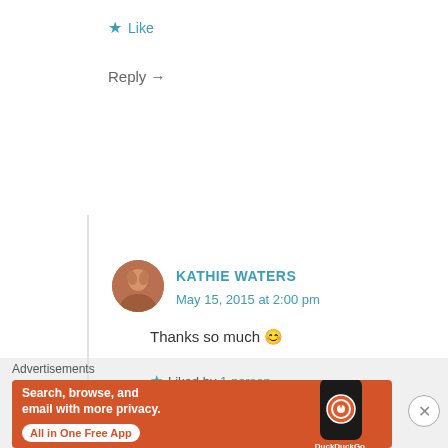★ Like
Reply →
KATHIE WATERS
May 15, 2015 at 2:00 pm
Thanks so much 😊
★ Liked by 1 person
[Figure (screenshot): DuckDuckGo advertisement banner with text: Search, browse, and email with more privacy. All in One Free App]
Advertisements